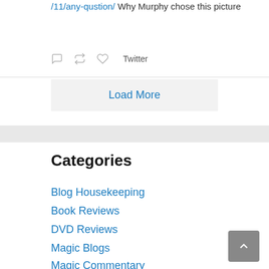/11/any-qustion/ Why Murphy chose this picture
Twitter
Load More
Categories
Blog Housekeeping
Book Reviews
DVD Reviews
Magic Blogs
Magic Commentary